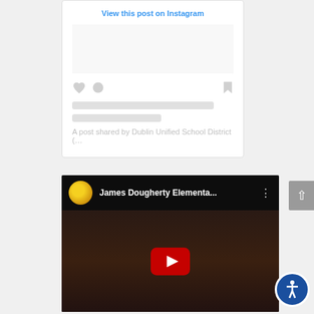View this post on Instagram
A post shared by Dublin Unified School District (...
[Figure (screenshot): YouTube video embed showing James Dougherty Elementa... with a YouTube play button overlay on a dark stage scene with drums and banners]
James Dougherty Elementa...